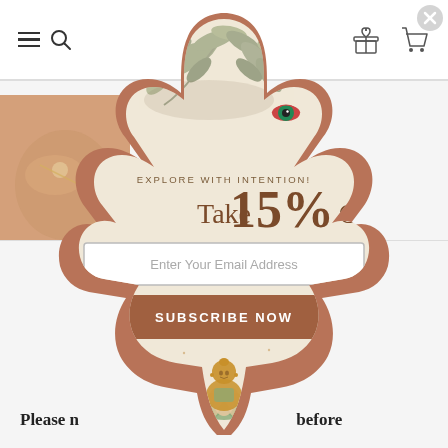Navigation bar with hamburger menu, search, gift, and cart icons
[Figure (illustration): Hamsa hand-shaped popup overlay with beige/cream background and terracotta brown border. Contains botanical leaf illustrations at top, an evil eye symbol, Om symbol and meditating Buddha figure at bottom. Decorative spiritual/boho design.]
EXPLORE WITH INTENTION!
Take 15% Off
Enter Your Email Address
SUBSCRIBE NOW
Please n... before